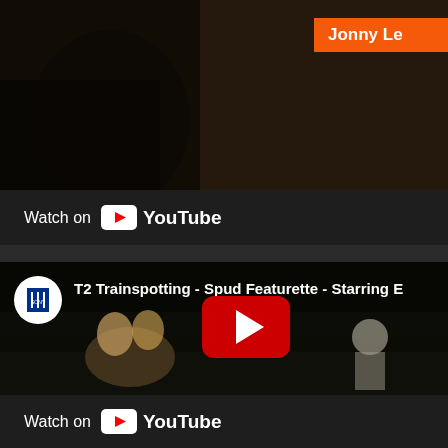[Figure (screenshot): YouTube video embed thumbnail (top) - dark cinematic scene with orange 'Jonny Le...' label in top right corner]
Watch on YouTube
[Figure (screenshot): YouTube video embed - T2 Trainspotting - Spud Featurette - Starring E... with Sony Pictures Releases channel icon, two people wrestling outdoors, YouTube play button overlay]
Watch on YouTube